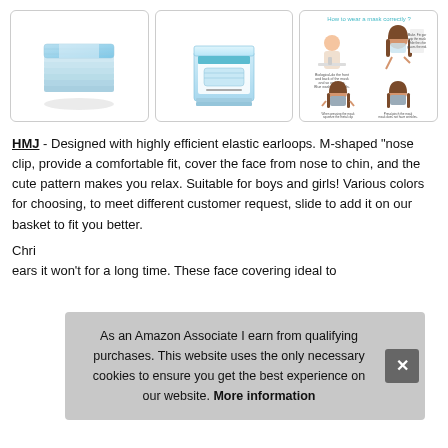[Figure (photo): Three product images: stack of blue disposable face masks, box of face masks, and instructional diagram showing how to wear a mask correctly]
HMJ - Designed with highly efficient elastic earloops. M-shaped "nose clip, provide a comfortable fit, cover the face from nose to chin, and the cute pattern makes you relax. Suitable for boys and girls! Various colors for choosing, to meet different customer request, slide to add it on our basket to fit you better.
Chri
ears it won't for a long time. These face covering ideal to
As an Amazon Associate I earn from qualifying purchases. This website uses the only necessary cookies to ensure you get the best experience on our website. More information